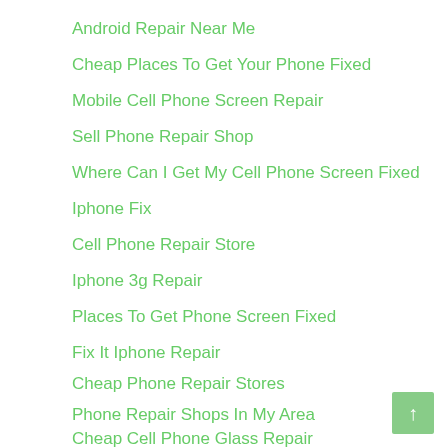Android Repair Near Me
Cheap Places To Get Your Phone Fixed
Mobile Cell Phone Screen Repair
Sell Phone Repair Shop
Where Can I Get My Cell Phone Screen Fixed
Iphone Fix
Cell Phone Repair Store
Iphone 3g Repair
Places To Get Phone Screen Fixed
Fix It Iphone Repair
Cheap Phone Repair Stores
Phone Repair Shops In My Area
Cheap Cell Phone Glass Repair